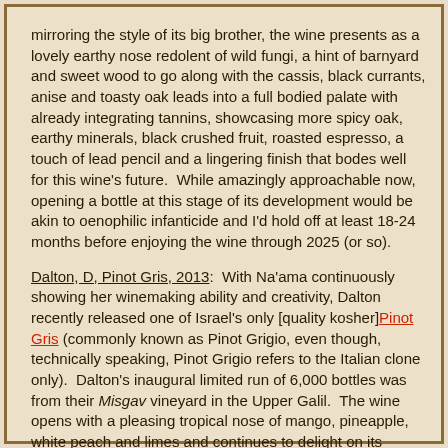mirroring the style of its big brother, the wine presents as a lovely earthy nose redolent of wild fungi, a hint of barnyard and sweet wood to go along with the cassis, black currants, anise and toasty oak leads into a full bodied palate with already integrating tannins, showcasing more spicy oak, earthy minerals, black crushed fruit, roasted espresso, a touch of lead pencil and a lingering finish that bodes well for this wine's future.  While amazingly approachable now, opening a bottle at this stage of its development would be akin to oenophilic infanticide and I'd hold off at least 18-24 months before enjoying the wine through 2025 (or so).
Dalton, D, Pinot Gris, 2013:  With Na'ama continuously showing her winemaking ability and creativity, Dalton recently released one of Israel's only [quality kosher] Pinot Gris (commonly known as Pinot Grigio, even though, technically speaking, Pinot Grigio refers to the Italian clone only).  Dalton's inaugural limited run of 6,000 bottles was from their Misgav vineyard in the Upper Galil.  The wine opens with a pleasing tropical nose of mango, pineapple, white peach and limes and continues to delight on its medium bodied palate with more tropical fruit, pears, plenty of citrus, grassy notes accompanied